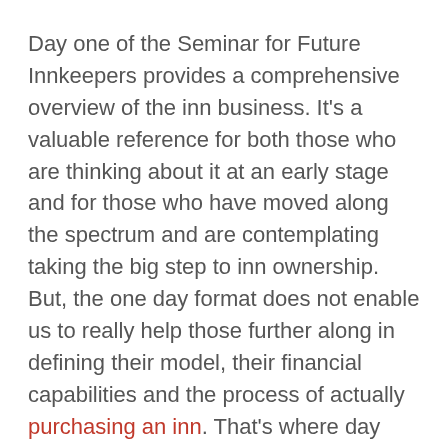Day one of the Seminar for Future Innkeepers provides a comprehensive overview of the inn business. It's a valuable reference for both those who are thinking about it at an early stage and for those who have moved along the spectrum and are contemplating taking the big step to inn ownership. But, the one day format does not enable us to really help those further along in defining their model, their financial capabilities and the process of actually purchasing an inn. That's where day two comes in.
Day two gives us the opportunity to explore individual models, financial capabilities and time frames. Essentially, it takes the generic outline from